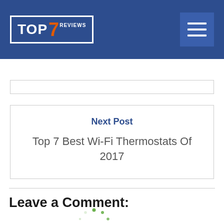TOP7REVIEWS
Next Post
Top 7 Best Wi-Fi Thermostats Of 2017
Leave a Comment:
[Figure (other): Loading spinner - circular dots in green]